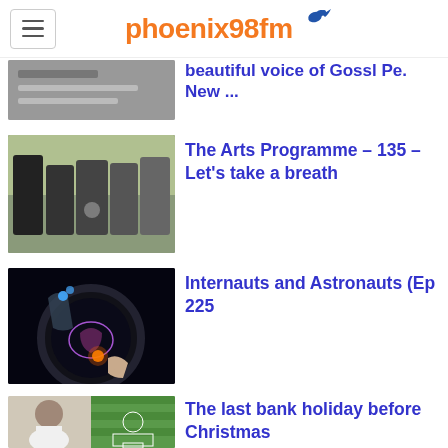phoenix98fm
beautiful voice of Goss Pe. New ...
The Arts Programme – 135 – Let's take a breath
Internauts and Astronauts (Ep 225
The last bank holiday before Christmas